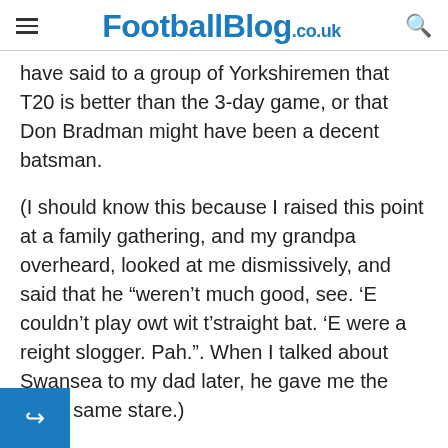FootballBlog.co.uk
have said to a group of Yorkshiremen that T20 is better than the 3-day game, or that Don Bradman might have been a decent batsman.
(I should know this because I raised this point at a family gathering, and my grandpa overheard, looked at me dismissively, and said that he “weren’t much good, see. ‘E couldn’t play owt wit t’straight bat. ‘E were a reight slogger. Pah.”. When I talked about Swansea to my dad later, he gave me the exact same stare.)